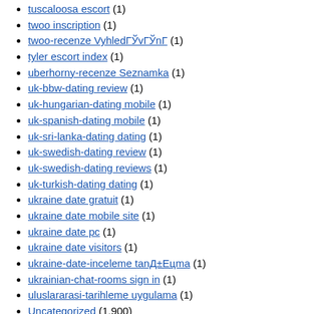tuscaloosa escort (1)
twoo inscription (1)
twoo-recenze VyhledГЎvГЎnГ (1)
tyler escort index (1)
uberhorny-recenze Seznamka (1)
uk-bbw-dating review (1)
uk-hungarian-dating mobile (1)
uk-spanish-dating mobile (1)
uk-sri-lanka-dating dating (1)
uk-swedish-dating review (1)
uk-swedish-dating reviews (1)
uk-turkish-dating dating (1)
ukraine date gratuit (1)
ukraine date mobile site (1)
ukraine date pc (1)
ukraine date visitors (1)
ukraine-date-inceleme tanД±Eцma (1)
ukrainian-chat-rooms sign in (1)
uluslararasi-tarihleme uygulama (1)
Uncategorized (1,900)
Uniform Dating services (1)
uniform-dating-cs MobilnГ strГЎnka (1)
uniform-dating-cs recenzГ (1)
usa payday loans (2)
vallejo live escort review (1)